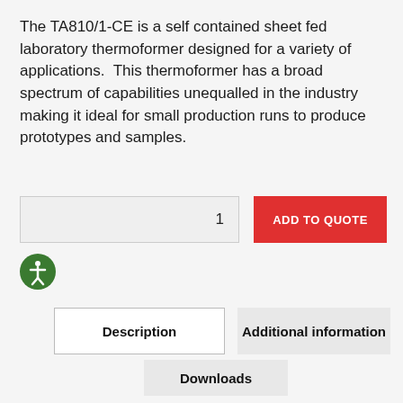The TA810/1-CE is a self contained sheet fed laboratory thermoformer designed for a variety of applications.  This thermoformer has a broad spectrum of capabilities unequalled in the industry making it ideal for small production runs to produce prototypes and samples.
[Figure (other): Quantity input field showing value 1]
[Figure (other): Red ADD TO QUOTE button]
[Figure (other): Green accessibility icon (person in circle)]
Description
Additional information
Downloads